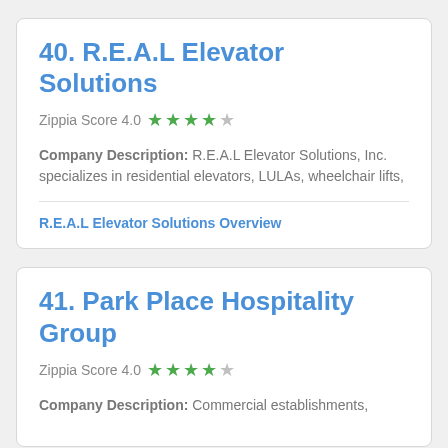40. R.E.A.L Elevator Solutions
Zippia Score 4.0 ★★★★☆
Company Description: R.E.A.L Elevator Solutions, Inc. specializes in residential elevators, LULAs, wheelchair lifts,
R.E.A.L Elevator Solutions Overview
41. Park Place Hospitality Group
Zippia Score 4.0 ★★★★☆
Company Description: Commercial establishments,